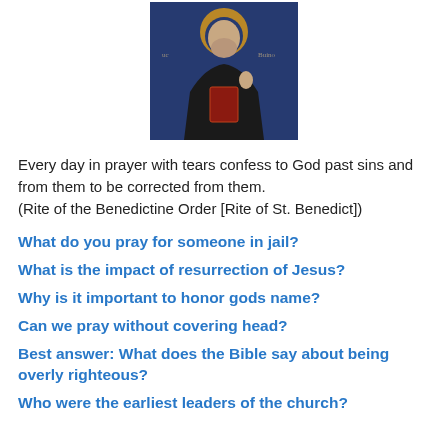[Figure (illustration): Icon/fresco painting of a saint (likely St. Benedict) in dark robes with a halo, holding a book and raising one hand, with text inscriptions in the background]
Every day in prayer with tears confess to God past sins and from them to be corrected from them.
(Rite of the Benedictine Order [Rite of St. Benedict])
What do you pray for someone in jail?
What is the impact of resurrection of Jesus?
Why is it important to honor gods name?
Can we pray without covering head?
Best answer: What does the Bible say about being overly righteous?
Who were the earliest leaders of the church?